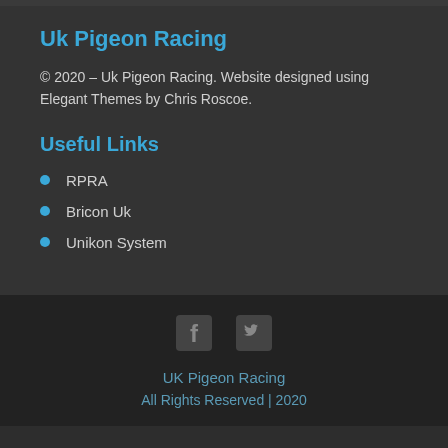Uk Pigeon Racing
© 2020 – Uk Pigeon Racing. Website designed using Elegant Themes by Chris Roscoe.
Useful Links
RPRA
Bricon Uk
Unikon System
[Figure (other): Facebook and Twitter social media icons in gray color]
UK Pigeon Racing
All Rights Reserved | 2020